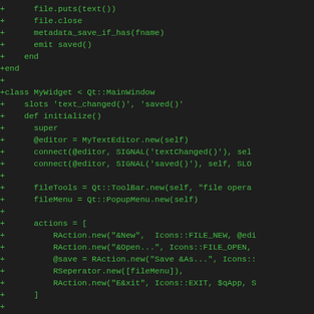[Figure (screenshot): Code diff snippet in a dark-themed editor showing Ruby code with green '+' prefixed lines. The code shows file operations, a class definition for MyWidget inheriting from Qt::MainWindow, slot declarations, an initialize method with editor setup, signal connections, toolbar/menu creation, and action array construction.]